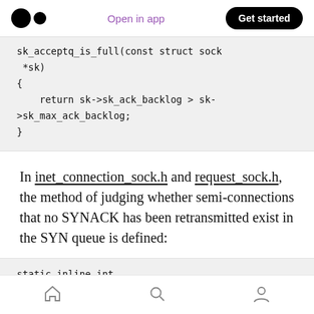Open in app | Get started
sk_acceptq_is_full(const struct sock *sk)
{
    return sk->sk_ack_backlog > sk->sk_max_ack_backlog;
}
In inet_connection_sock.h and request_sock.h, the method of judging whether semi-connections that no SYNACK has been retransmitted exist in the SYN queue is defined:
static inline int
inet_csk_reqsk_queue_young(const
Home | Search | Profile